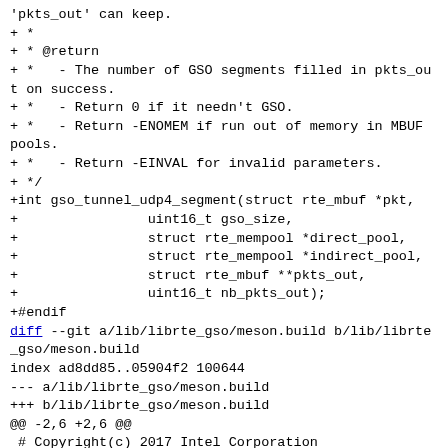'pkts_out' can keep.
+ *
+ * @return
+ *   - The number of GSO segments filled in pkts_out on success.
+ *   - Return 0 if it needn't GSO.
+ *   - Return -ENOMEM if run out of memory in MBUF pools.
+ *   - Return -EINVAL for invalid parameters.
+ */
+int gso_tunnel_udp4_segment(struct rte_mbuf *pkt,
+                uint16_t gso_size,
+                struct rte_mempool *direct_pool,
+                struct rte_mempool *indirect_pool,
+                struct rte_mbuf **pkts_out,
+                uint16_t nb_pkts_out);
+#endif
diff --git a/lib/librte_gso/meson.build b/lib/librte_gso/meson.build
index ad8dd85..05904f2 100644
--- a/lib/librte_gso/meson.build
+++ b/lib/librte_gso/meson.build
@@ -2,6 +2,6 @@
 # Copyright(c) 2017 Intel Corporation